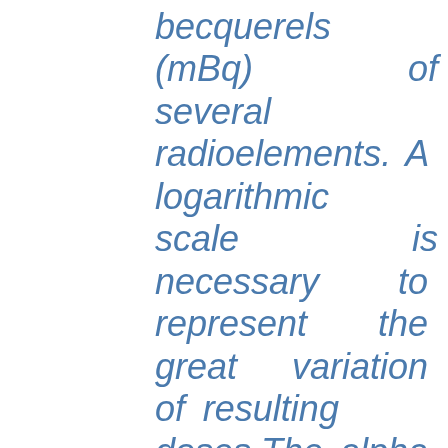becquerels (mBq) of several radioelements. A logarithmic scale is necessary to represent the great variation of resulting doses.The alpha emitters (in blue) are by far the most toxic elements to absorb. A few fission products are shown in green. Two natural radioelements, potassium 40 and